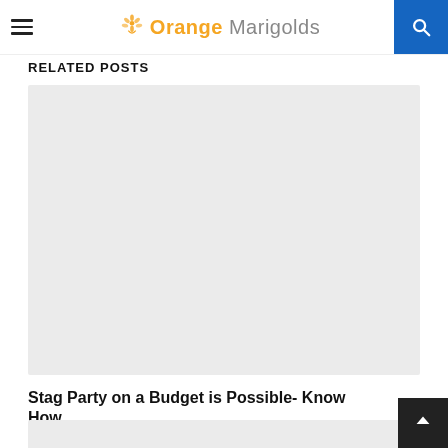Orange Marigolds
RELATED POSTS
[Figure (photo): Large light gray placeholder image for a related post thumbnail]
Stag Party on a Budget is Possible- Know How
[Figure (photo): Second light gray placeholder image for another related post thumbnail, partially visible at bottom]